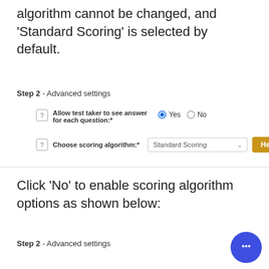algorithm cannot be changed, and 'Standard Scoring' is selected by default.
Step 2 - Advanced settings
Allow test taker to see answer for each question:* Yes No
Choose scoring algorithm:* Standard Scoring Help
Click 'No' to enable scoring algorithm options as shown below:
Step 2 - Advanced settings